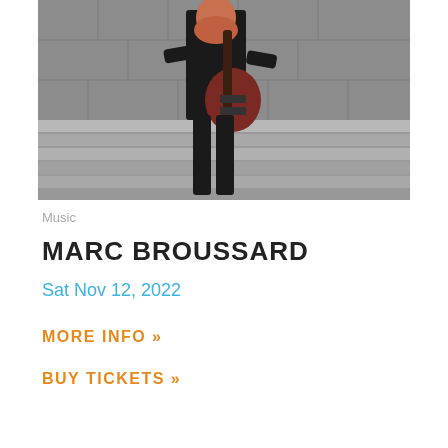[Figure (photo): Man with red beard holding a dark red electric guitar, standing on stone steps in front of a stone building, wearing a black jacket and black pants.]
Music
MARC BROUSSARD
Sat Nov 12, 2022
MORE INFO »
BUY TICKETS »